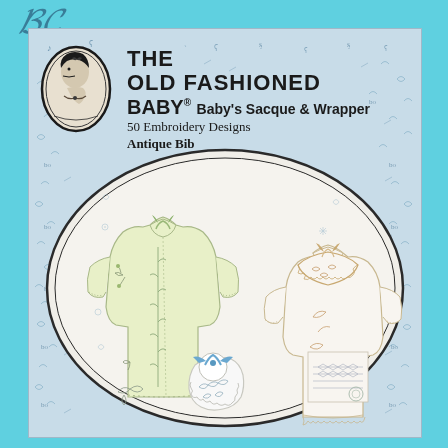[Figure (illustration): Cover page of 'The Old Fashioned Baby' sewing/embroidery pattern book. Features a light blue patterned background with small embroidery motifs scattered throughout. Top left has an oval logo/cameo of a woman's profile. Main text reads 'THE OLD FASHIONED BABY® Baby's Sacque & Wrapper, 50 Embroidery Designs, Antique Bib'. Center features a large oval illustration showing baby garments: a yellow sacque (infant jacket) with embroidery on the left, a white wrapper with lace trim on the right, and a white bib with blue ribbon at the bottom.]